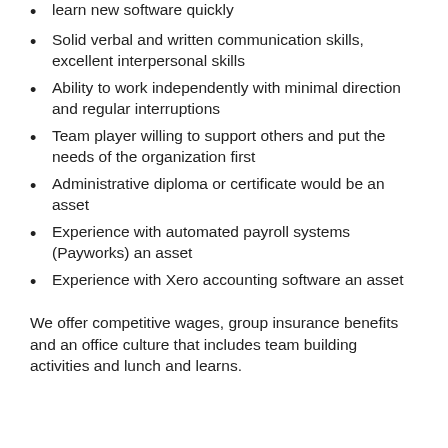learn new software quickly
Solid verbal and written communication skills, excellent interpersonal skills
Ability to work independently with minimal direction and regular interruptions
Team player willing to support others and put the needs of the organization first
Administrative diploma or certificate would be an asset
Experience with automated payroll systems (Payworks) an asset
Experience with Xero accounting software an asset
We offer competitive wages, group insurance benefits and an office culture that includes team building activities and lunch and learns.